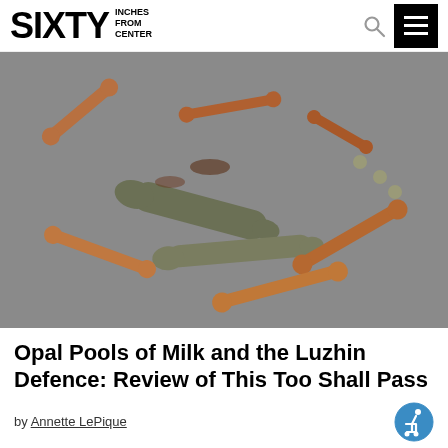SIXTY INCHES FROM CENTER
[Figure (photo): A pile of small copper/bronze colored bone-shaped objects and two grey-green bone-shaped objects scattered on a grey surface.]
Opal Pools of Milk and the Luzhin Defence: Review of This Too Shall Pass
by Annette LePique